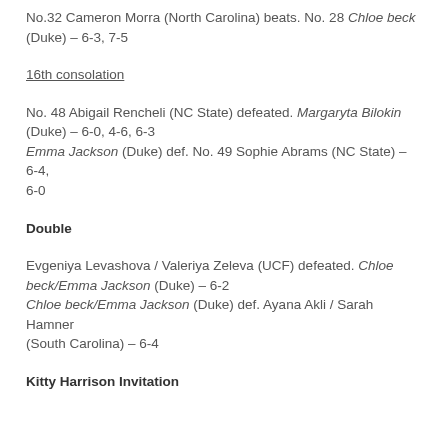No.32 Cameron Morra (North Carolina) beats. No. 28 Chloe beck (Duke) – 6-3, 7-5
16th consolation
No. 48 Abigail Rencheli (NC State) defeated. Margaryta Bilokin (Duke) – 6-0, 4-6, 6-3
Emma Jackson (Duke) def. No. 49 Sophie Abrams (NC State) – 6-4, 6-0
Double
Evgeniya Levashova / Valeriya Zeleva (UCF) defeated. Chloe beck/Emma Jackson (Duke) – 6-2
Chloe beck/Emma Jackson (Duke) def. Ayana Akli / Sarah Hamner (South Carolina) – 6-4
Kitty Harrison Invitation